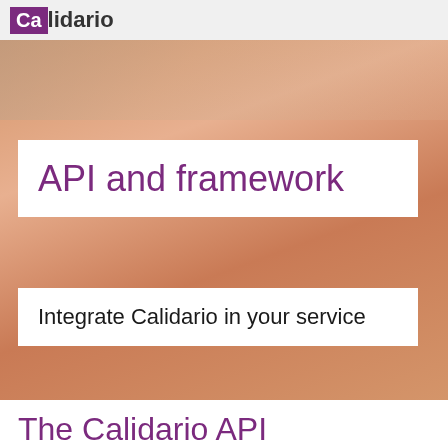Calidario
API and framework
Integrate Calidario in your service
The Calidario API